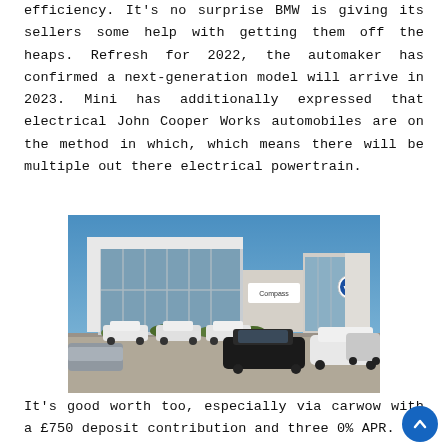efficiency. It's no surprise BMW is giving its sellers some help with getting them off the heaps. Refresh for 2022, the automaker has confirmed a next-generation model will arrive in 2023. Mini has additionally expressed that electrical John Cooper Works automobiles are on the method in which, which means there will be multiple out there electrical powertrain.
[Figure (photo): Exterior photo of a Compass Volkswagen car dealership building with large glass facade, white walls, VW logo, and several cars parked in the lot under a blue sky.]
It's good worth too, especially via carwow with a £750 deposit contribution and three 0% APR. If...